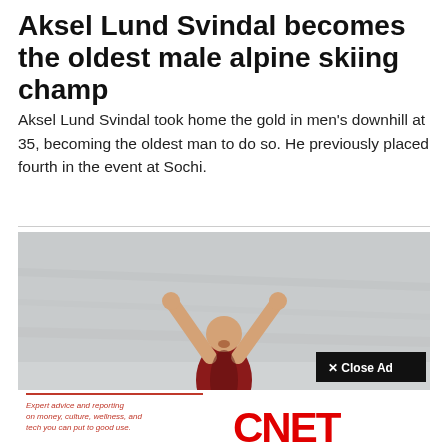Aksel Lund Svindal becomes the oldest male alpine skiing champ
Aksel Lund Svindal took home the gold in men's downhill at 35, becoming the oldest man to do so. He previously placed fourth in the event at Sochi.
[Figure (photo): Photo of a male athlete in a red and black outfit with arms raised in celebration, mouth open in joy, against a grey/white snowy background. An advertisement overlay for CNET is visible at the bottom of the photo with text 'Expert advice and reporting on money, culture, wellness, and tech you can put to good use.' and the CNET logo in red. A 'Close Ad' button is shown in the upper right of the ad overlay.]